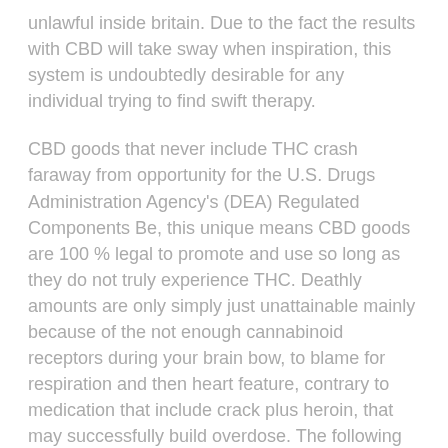unlawful inside britain. Due to the fact the results with CBD will take sway when inspiration, this system is undoubtedly desirable for any individual trying to find swift therapy.
CBD goods that never include THC crash faraway from opportunity for the U.S. Drugs Administration Agency's (DEA) Regulated Components Be, this unique means CBD goods are 100 % legal to promote and use so long as they do not truly experience THC. Deathly amounts are only simply just unattainable mainly because of the not enough cannabinoid receptors during your brain bow, to blame for respiration and then heart feature, contrary to medication that include crack plus heroin, that may successfully build overdose. The following firmrrrs web-site has taken third-party dental lab recommendations for lots of many with respect to a lengthy span, then again at this time they are really transferring all the way to positioning QR codes regarding many products, so as to browse the research lab feedback survey for the actual